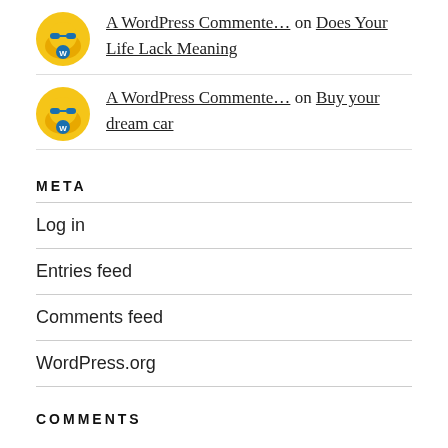A WordPress Commenter… on Does Your Life Lack Meaning
A WordPress Commenter… on Buy your dream car
META
Log in
Entries feed
Comments feed
WordPress.org
COMMENTS